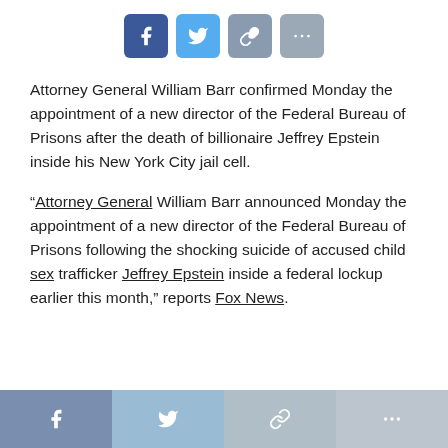[Figure (other): Social share buttons row: Facebook (dark blue), Twitter (light blue), Link (grey-blue), More (grey)]
Attorney General William Barr confirmed Monday the appointment of a new director of the Federal Bureau of Prisons after the death of billionaire Jeffrey Epstein inside his New York City jail cell.
“Attorney General William Barr announced Monday the appointment of a new director of the Federal Bureau of Prisons following the shocking suicide of accused child sex trafficker Jeffrey Epstein inside a federal lockup earlier this month,” reports Fox News.
[Figure (other): Bottom social share buttons row: Facebook (muted blue), Twitter (muted light blue), Link (light grey), More (light grey)]